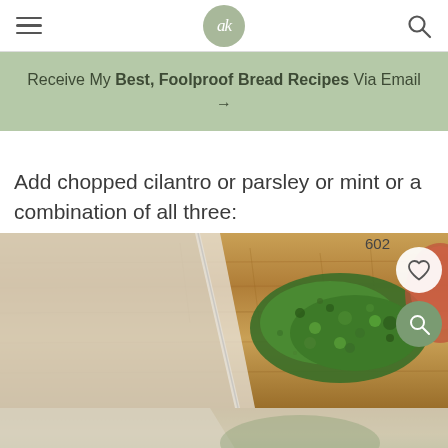ak — navigation header with hamburger menu, logo, and search icon
Receive My Best, Foolproof Bread Recipes Via Email →
Add chopped cilantro or parsley or mint or a combination of all three:
[Figure (photo): Photo of chopped fresh herbs (cilantro/parsley) on a wooden cutting board with a knife blade visible, with a heart save button (602) and magnify button overlaid on the right side.]